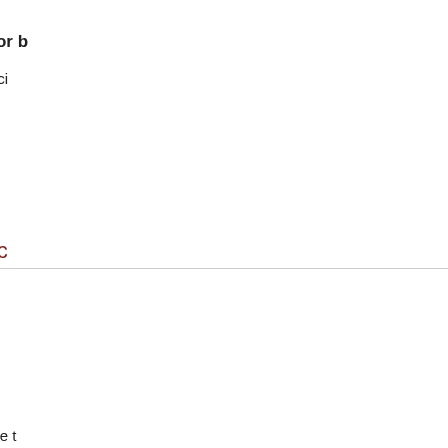Scenario C:  I have a Flip or basic phone
Choose Phone then specify...
This method is recommended... app. When presented with an... receive an SMS text message...
Travel to areas without cellula...
How do I use Multi-fac...
Once you complete your MFA s...
When you log in to an MFA-pro... correctly entering your Middleb... access, you will be prompted to... message, or mobile app notific...
For example, if you chose t... address and password at th...